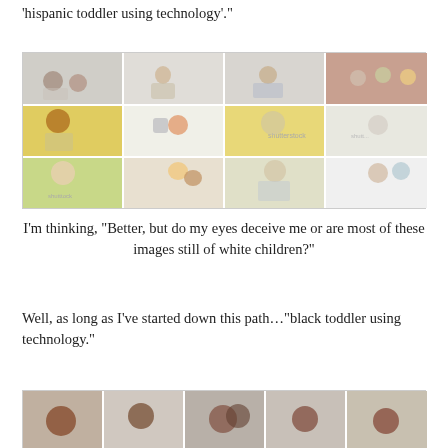'hispanic toddler using technology'."
[Figure (photo): Grid of stock photos showing children using technology devices, mostly white children, from a Shutterstock search for 'hispanic toddler using technology']
I'm thinking, "Better, but do my eyes deceive me or are most of these images still of white children?"
Well, as long as I've started down this path..."black toddler using technology."
[Figure (photo): Partial grid of stock photos showing Black children using technology devices, from a Shutterstock search for 'black toddler using technology']